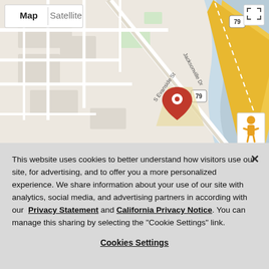[Figure (map): Google Maps screenshot showing a location pin on Jacksonville Dr / S Evanside St area with highway 79 visible. Map and Satellite toggle buttons shown at top left, fullscreen icon at top right, Street View pegman icon at bottom right.]
This website uses cookies to better understand how visitors use our site, for advertising, and to offer you a more personalized experience. We share information about your use of our site with analytics, social media, and advertising partners in according with our Privacy Statement and California Privacy Notice. You can manage this sharing by selecting the "Cookie Settings" link.
Cookies Settings